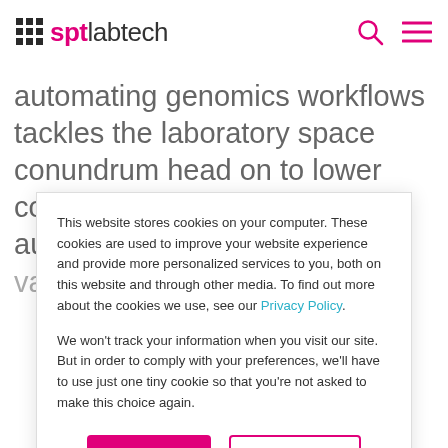sptlabtech
automating genomics workflows tackles the laboratory space conundrum head on to lower costs, broaden access to automation, while conserving valuable bench space.
This website stores cookies on your computer. These cookies are used to improve your website experience and provide more personalized services to you, both on this website and through other media. To find out more about the cookies we use, see our Privacy Policy.

We won't track your information when you visit our site. But in order to comply with your preferences, we'll have to use just one tiny cookie so that you're not asked to make this choice again.
Accept
Decline